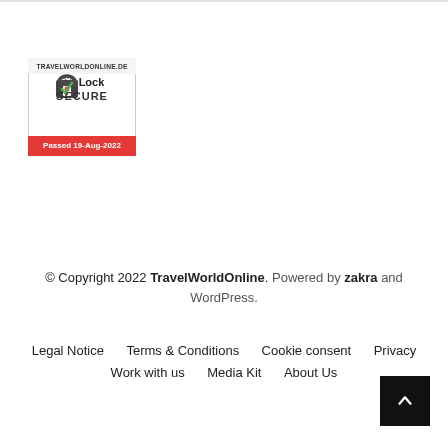[Figure (logo): SiteLock SECURE badge for travelworldonline.de, showing a padlock icon, 'SiteLock SECURE' text, and 'Passed 19-Aug-2022' in red/orange bar at bottom]
© Copyright 2022 TravelWorldOnline. Powered by zakra and WordPress.
Legal Notice   Terms & Conditions   Cookie consent   Privacy   Work with us   Media Kit   About Us